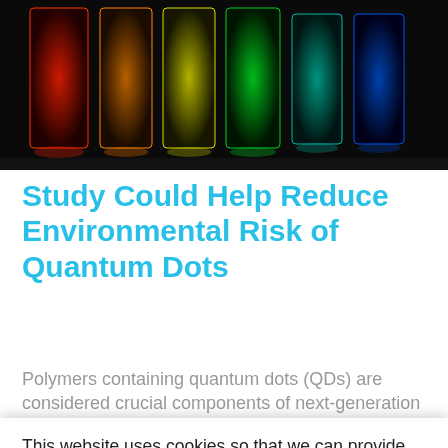[Figure (photo): Photograph of glowing quantum dot solutions in containers displaying colors of the spectrum: red, orange, yellow, green, teal, blue, arranged left to right against a dark background.]
Study Could Help Reduce Environmental Risk of Quantum Dots
Polymers containing quantum dots (QDs) are considered crucial components of next-generation consumer items, but ambiguity
This website uses cookies so that we can provide you with the best user experience possible. Cookie information is stored in your browser and performs functions such as recognizing you when you return to our website and helping our team to understand which sections of the website you find most interesting and useful. NanoApps Medical Inc. Cookie Policy
Accept